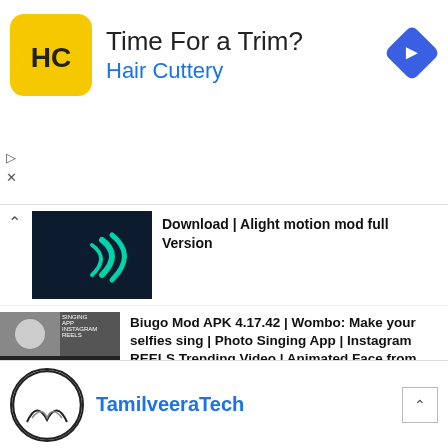[Figure (screenshot): Hair Cuttery advertisement banner with yellow HC logo, 'Time For a Trim?' headline, 'Hair Cuttery' subtitle in blue, and blue diamond navigation arrow icon]
Download | Alight motion mod full Version
Biugo Mod APK 4.17.42 | Wombo: Make your selfies sing | Photo Singing App | Instagram REELS Trending Video | Animated Face from photo | Image Singing App
Trending lyrics video editing tamil | kinemaster lyrics editing tamil | lyrics video editing |
[Figure (screenshot): TamilveeraTech channel card with circular avatar logo and blue channel name text]